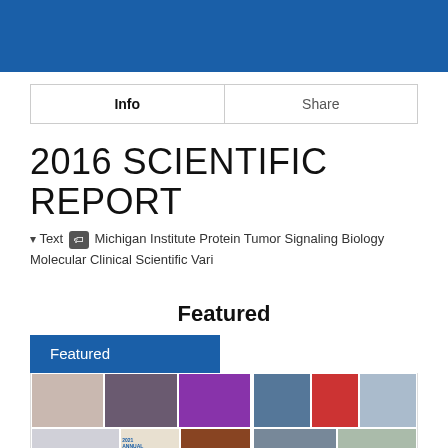| Info | Share |
| --- | --- |
2016 SCIENTIFIC REPORT
Text  Michigan Institute Protein Tumor Signaling Biology Molecular Clinical Scientific Vari
Featured
Featured
[Figure (photo): Two collages of event photos from Van Andel Institute 2021 Annual Report, showing groups of people at various events]